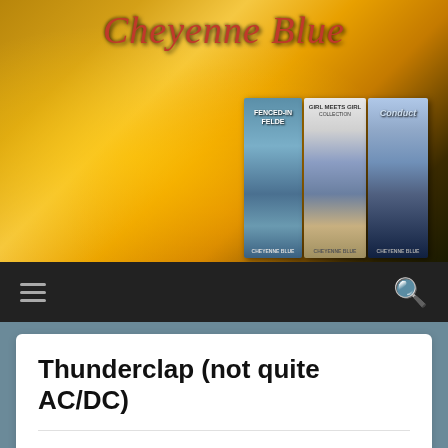[Figure (photo): Website header banner for 'Cheyenne Blue' blog showing a sunset landscape with tree silhouettes and book covers on the right side]
☰  🔍
Thunderclap (not quite AC/DC)
After reading Lucy Felthouse's excellent post on the subject at the Erotica Readers blog, I'm trying out Thunderclap, a free promotion tool. It spins off the crowd funding model, but instead of pledging